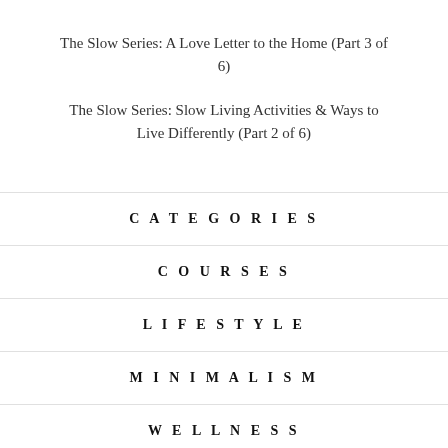The Slow Series: A Love Letter to the Home (Part 3 of 6)
The Slow Series: Slow Living Activities & Ways to Live Differently (Part 2 of 6)
CATEGORIES
COURSES
LIFESTYLE
MINIMALISM
WELLNESS